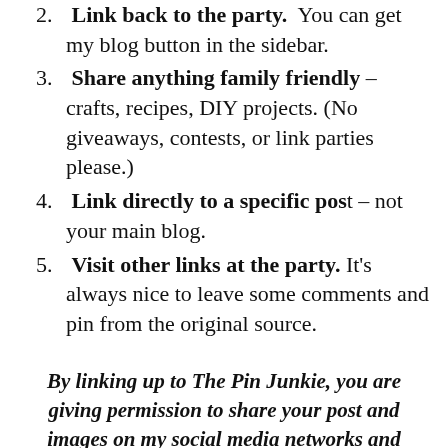2.  Link back to the party.  You can get my blog button in the sidebar.
3.  Share anything family friendly – crafts, recipes, DIY projects. (No giveaways, contests, or link parties please.)
4.  Link directly to a specific post – not your main blog.
5.  Visit other links at the party.  It's always nice to leave some comments and pin from the original source.
By linking up to The Pin Junkie, you are giving permission to share your post and images on my social media networks and feature them on The Pin Junkie.